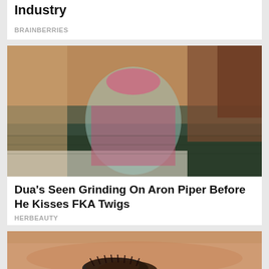Industry
BRAINBERRIES
[Figure (photo): Woman in pink cap and teal cutout swimsuit with pink flannel shirt, reclining on a boat near red rock cliffs and water]
Dua's Seen Grinding On Aron Piper Before He Kisses FKA Twigs
HERBEAUTY
[Figure (photo): Close-up of a hand holding a small dark fuzzy caterpillar]